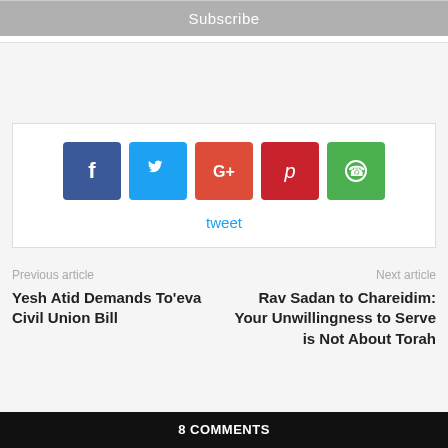Subscribe
[Figure (infographic): Social sharing buttons: Facebook (blue), Twitter (light blue), Google+ (orange-red), Pinterest (red), WhatsApp (green), with a tweet link below]
tweet
Previous article
Yesh Atid Demands To'eva Civil Union Bill
Next article
Rav Sadan to Chareidim: Your Unwillingness to Serve is Not About Torah
8 COMMENTS